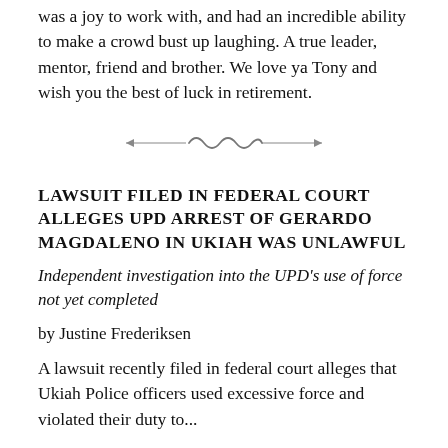was a joy to work with, and had an incredible ability to make a crowd bust up laughing. A true leader, mentor, friend and brother. We love ya Tony and wish you the best of luck in retirement.
[Figure (illustration): Decorative ornamental divider with swirling calligraphic design]
LAWSUIT FILED IN FEDERAL COURT ALLEGES UPD ARREST OF GERARDO MAGDALENO IN UKIAH WAS UNLAWFUL
Independent investigation into the UPD's use of force not yet completed
by Justine Frederiksen
A lawsuit recently filed in federal court alleges that Ukiah Police officers used excessive force and violated their duty to...